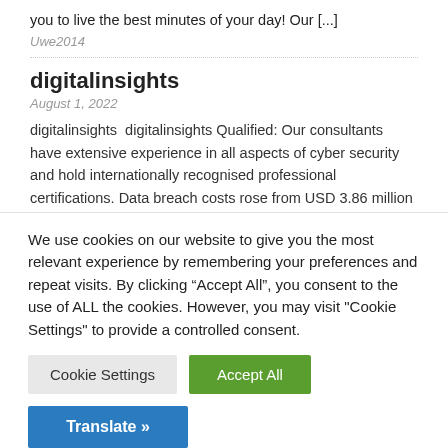you to live the best minutes of your day! Our [...]
Uwe2014
digitalinsights
August 1, 2022
digitalinsights  digitalinsights Qualified: Our consultants have extensive experience in all aspects of cyber security and hold internationally recognised professional certifications. Data breach costs rose from USD 3.86 million to USD 4.24 million, the highest average total cost in the 17-year history of this report.  Combining Penetration Testing with a Vulnerability Assessment to identify and validate [...]
We use cookies on our website to give you the most relevant experience by remembering your preferences and repeat visits. By clicking “Accept All”, you consent to the use of ALL the cookies. However, you may visit "Cookie Settings" to provide a controlled consent.
Cookie Settings
Accept All
Translate »